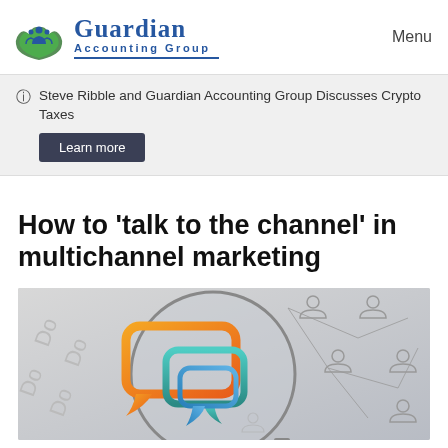Guardian Accounting Group | Menu
Steve Ribble and Guardian Accounting Group Discusses Crypto Taxes
Learn more
How to 'talk to the channel' in multichannel marketing
[Figure (illustration): Illustration showing colorful speech bubble icons (orange, teal, blue) through a magnifying glass, with network person icons in the background on a gray gradient background]